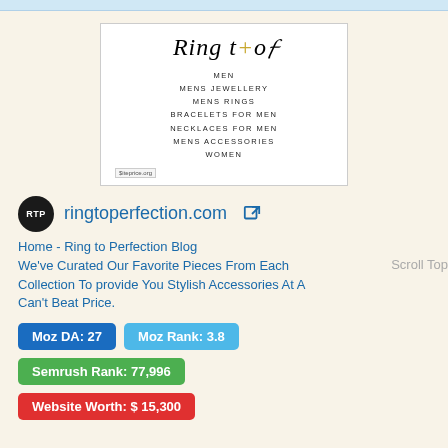[Figure (screenshot): Screenshot of ringtoperfection.com website showing logo and navigation menu with items: MEN, MENS JEWELLERY, MENS RINGS, BRACELETS FOR MEN, NECKLACES FOR MEN, MENS ACCESSORIES, WOMEN]
ringtoperfection.com
Home - Ring to Perfection Blog We've Curated Our Favorite Pieces From Each Collection To provide You Stylish Accessories At A Can't Beat Price.
Moz DA: 27
Moz Rank: 3.8
Semrush Rank: 77,996
Website Worth: $ 15,300